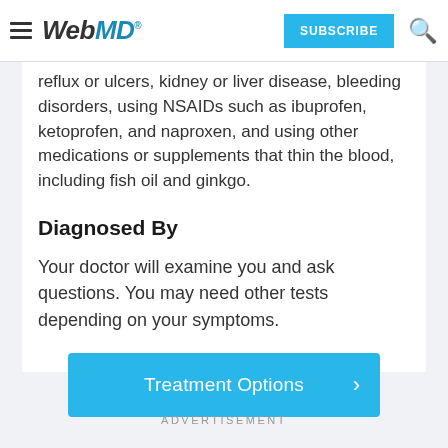WebMD — SUBSCRIBE (button) [search icon]
reflux or ulcers, kidney or liver disease, bleeding disorders, using NSAIDs such as ibuprofen, ketoprofen, and naproxen, and using other medications or supplements that thin the blood, including fish oil and ginkgo.
Diagnosed By
Your doctor will examine you and ask questions. You may need other tests depending on your symptoms.
[Figure (other): Blue button labeled 'Treatment Options' with a right-pointing chevron arrow]
ADVERTISEMENT